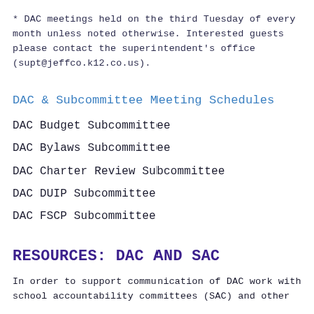* DAC meetings held on the third Tuesday of every month unless noted otherwise. Interested guests please contact the superintendent's office (supt@jeffco.k12.co.us).
DAC & Subcommittee Meeting Schedules
DAC Budget Subcommittee
DAC Bylaws Subcommittee
DAC Charter Review Subcommittee
DAC DUIP Subcommittee
DAC FSCP Subcommittee
RESOURCES: DAC AND SAC
In order to support communication of DAC work with school accountability committees (SAC) and other